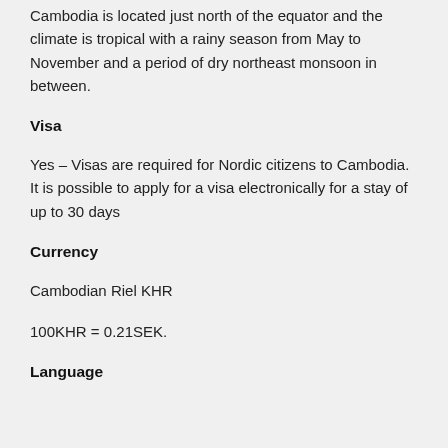Cambodia is located just north of the equator and the climate is tropical with a rainy season from May to November and a period of dry northeast monsoon in between.
Visa
Yes – Visas are required for Nordic citizens to Cambodia. It is possible to apply for a visa electronically for a stay of up to 30 days
Currency
Cambodian Riel KHR
100KHR = 0.21SEK.
Language